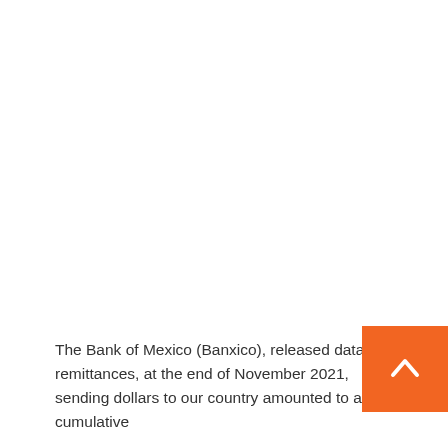The Bank of Mexico (Banxico), released data on remittances, at the end of November 2021, sending dollars to our country amounted to a cumulative